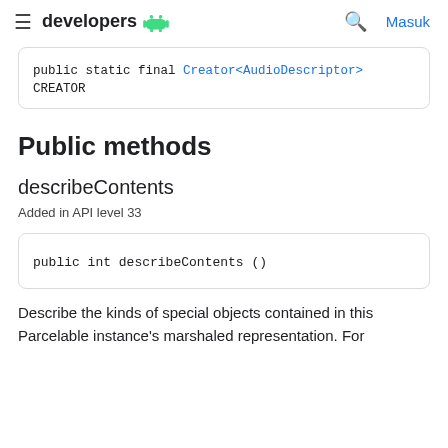developers
public static final Creator<AudioDescriptor> CREATOR
Public methods
describeContents
Added in API level 33
public int describeContents ()
Describe the kinds of special objects contained in this Parcelable instance's marshaled representation. For